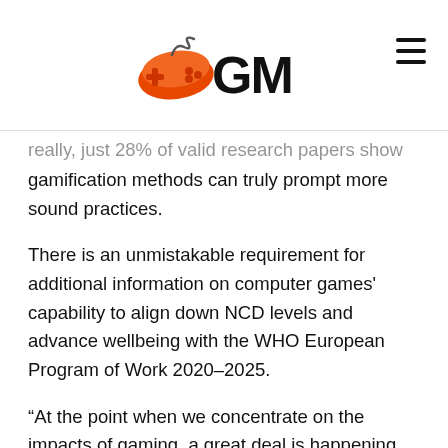[Figure (logo): EGM logo with orange game controller graphic and bold 'GM' text]
really, just 28% of valid research papers show that gamification methods can truly prompt more sound practices.
There is an unmistakable requirement for additional information on computer games' capability to align down NCD levels and advance wellbeing with the WHO European Program of Work 2020–2025.
“At the point when we concentrate on the impacts of gaming, a great deal is happening simultaneously: the illustrations; the test; individuals you might be playing with. From an exploratory science point of view, this can measure up to recommending a gathering of patients 12